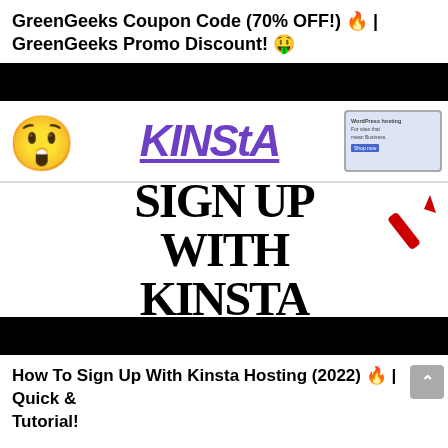GreenGeeks Coupon Code (70% OFF!) 🔥 | GreenGeeks Promo Discount! 🤑
[Figure (screenshot): Video thumbnail showing the Kinsta hosting logo with a shocked emoji face, and text reading 'SIGN UP WITH KINSTA' on a blue/white background with a red arrow and question mark.]
How To Sign Up With Kinsta Hosting (2022) 🔥 | Quick & Tutorial!